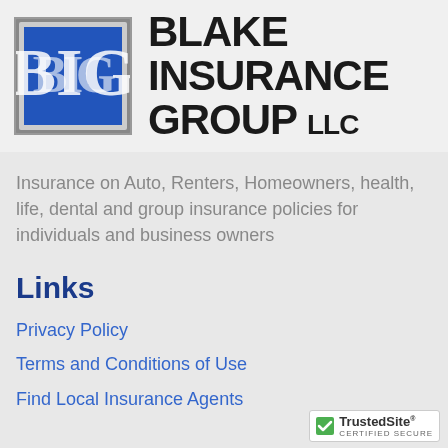[Figure (logo): Blake Insurance Group LLC logo with BIG monogram in blue square and company name in bold black text]
Insurance on Auto, Renters, Homeowners, health, life, dental and group insurance policies for individuals and business owners
Links
Privacy Policy
Terms and Conditions of Use
Find Local Insurance Agents
[Figure (logo): TrustedSite Certified Secure badge]